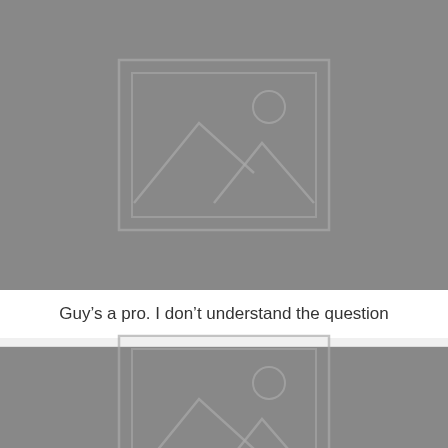[Figure (illustration): Gray image placeholder with mountain/landscape icon and sun circle inside a bordered rectangle frame]
Guy’s a pro. I don’t understand the question
[Figure (illustration): Gray image placeholder with mountain/landscape icon and sun circle inside a bordered rectangle frame (partially visible)]